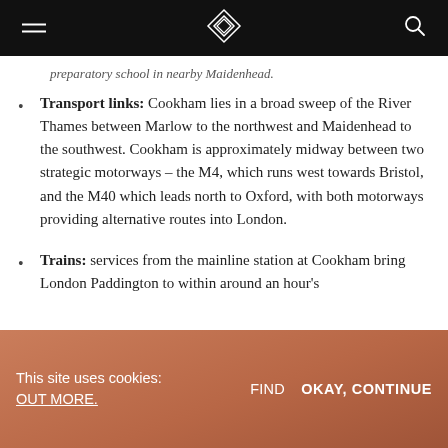[navigation bar with hamburger menu, diamond logo, search icon]
preparatory school in nearby Maidenhead.
Transport links: Cookham lies in a broad sweep of the River Thames between Marlow to the northwest and Maidenhead to the southwest. Cookham is approximately midway between two strategic motorways – the M4, which runs west towards Bristol, and the M40 which leads north to Oxford, with both motorways providing alternative routes into London.
Trains: services from the mainline station at Cookham bring London Paddington to within around an hour's
This site uses cookies:   FIND OUT MORE.   OKAY, CONTINUE